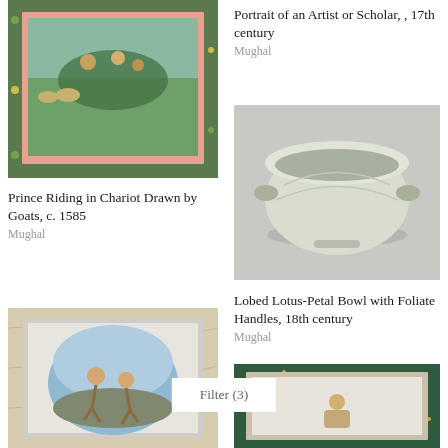[Figure (photo): Mughal painting of a prince riding in a chariot drawn by goats, c. 1585, with green floral border]
Portrait of an Artist or Scholar, , 17th century
Mughal
[Figure (photo): A white jade lobed lotus-petal bowl with foliate handles, 18th century Mughal]
Prince Riding in Chariot Drawn by Goats, c. 1585
Mughal
Lobed Lotus-Petal Bowl with Foliate Handles, 18th century
Mughal
[Figure (photo): Mughal painting with cream marbled border, oval scene of two figures dancing]
[Figure (photo): Mughal painting with dark green border showing a seated figure]
Filter (3)